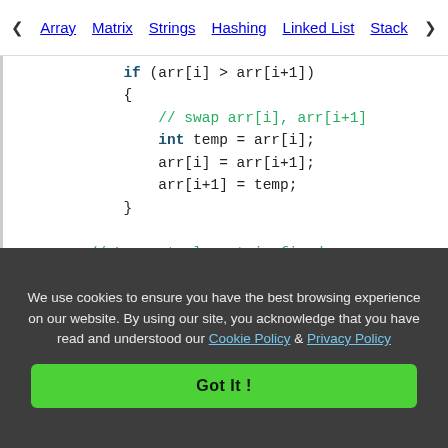< Array  Matrix  Strings  Hashing  Linked List  Stack >
[Figure (screenshot): Java code snippet showing bubble sort implementation with if block swapping arr[i] and arr[i+1], recursive call to bubbleSort(arr, n-1), and start of Driver Method with public static void main(String[] args)]
We use cookies to ensure you have the best browsing experience on our website. By using our site, you acknowledge that you have read and understood our Cookie Policy & Privacy Policy
Got It !